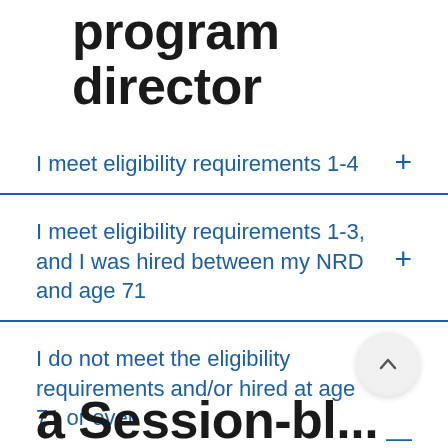program director
I meet eligibility requirements 1-4
I meet eligibility requirements 1-3, and I was hired between my NRD and age 71
I do not meet the eligibility requirements and/or hired at age 71 or over
a Session-bl...